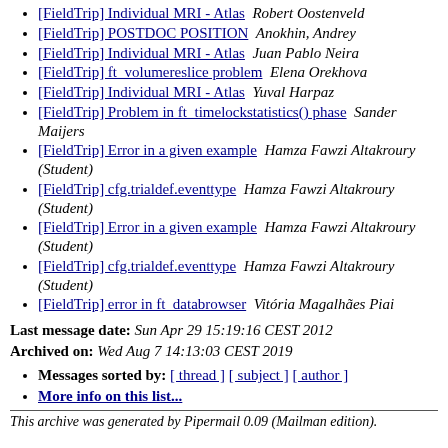[FieldTrip] Individual MRI - Atlas  Robert Oostenveld
[FieldTrip] POSTDOC POSITION  Anokhin, Andrey
[FieldTrip] Individual MRI - Atlas  Juan Pablo Neira
[FieldTrip] ft_volumereslice problem  Elena Orekhova
[FieldTrip] Individual MRI - Atlas  Yuval Harpaz
[FieldTrip] Problem in ft_timelockstatistics() phase  Sander Maijers
[FieldTrip] Error in a given example  Hamza Fawzi Altakroury (Student)
[FieldTrip] cfg.trialdef.eventtype  Hamza Fawzi Altakroury (Student)
[FieldTrip] Error in a given example  Hamza Fawzi Altakroury (Student)
[FieldTrip] cfg.trialdef.eventtype  Hamza Fawzi Altakroury (Student)
[FieldTrip] error in ft_databrowser  Vitória Magalhães Piai
Last message date: Sun Apr 29 15:19:16 CEST 2012
Archived on: Wed Aug 7 14:13:03 CEST 2019
Messages sorted by: [ thread ] [ subject ] [ author ]
More info on this list...
This archive was generated by Pipermail 0.09 (Mailman edition).